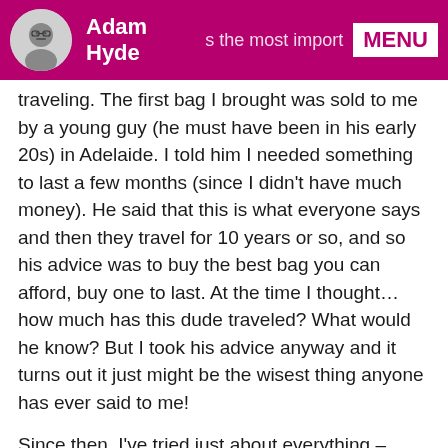Adam Hyde | MENU
traveling. The first bag I brought was sold to me by a young guy (he must have been in his early 20s) in Adelaide. I told him I needed something to last a few months (since I didn't have much money). He said that this is what everyone says and then they travel for 10 years or so, and so his advice was to buy the best bag you can afford, buy one to last. At the time I thought… how much has this dude traveled? What would he know? But I took his advice anyway and it turns out it just might be the wisest thing anyone has ever said to me!
Since then, I've tried just about everything – wheelie bags, hiking packs, bags with lots of pockets, narrow bags, fat bags, bags that attach to bags, semi-hard-shell bags, hybrid backpack/wheelie bags… the lot …pretty much everything except an actual suitcase. What I have settled on after many years is this one simple rule: the